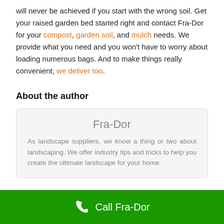will never be achieved if you start with the wrong soil. Get your raised garden bed started right and contact Fra-Dor for your compost, garden soil, and mulch needs. We provide what you need and you won't have to worry about loading numerous bags. And to make things really convenient, we deliver too.
About the author
Fra-Dor
As landscape suppliers, we know a thing or two about landscaping. We offer industry tips and tricks to help you create the ultimate landscape for your home.
Call Fra-Dor